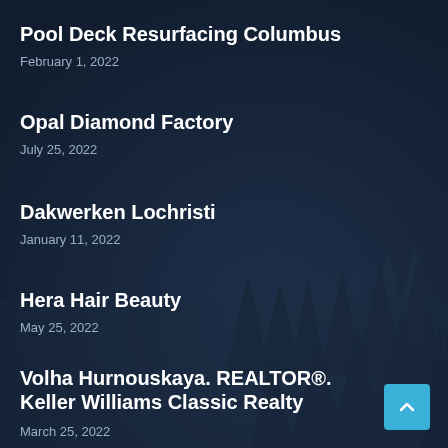[Figure (illustration): Dark navy blue background with silhouettes of pine/fir trees in varying sizes creating a misty forest scene]
Pool Deck Resurfacing Columbus
February 1, 2022
Opal Diamond Factory
July 25, 2022
Dakwerken Lochristi
January 11, 2022
Hera Hair Beauty
May 25, 2022
Volha Hurnouskaya. REALTOR®. Keller Williams Classic Realty
March 25, 2022